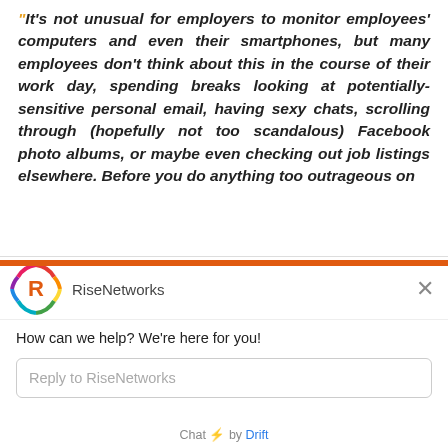“It’s not unusual for employers to monitor employees’ computers and even their smartphones, but many employees don’t think about this in the course of their work day, spending breaks looking at potentially-sensitive personal email, having sexy chats, scrolling through (hopefully not too scandalous) Facebook photo albums, or maybe even checking out job listings elsewhere. Before you do anything too outrageous on
[Figure (screenshot): Chat widget from RiseNetworks (powered by Drift) overlaying the bottom portion of the page. Shows the RiseNetworks logo, a greeting message 'How can we help? We’re here for you!', a reply input field, and a 'Chat by Drift' footer.]